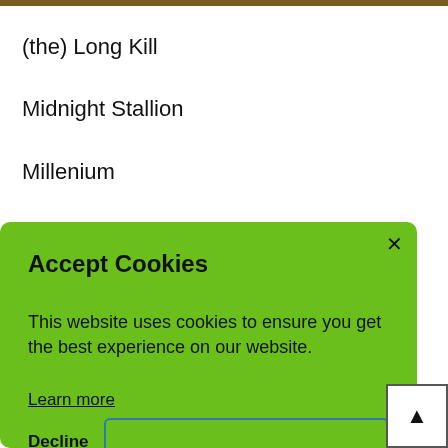(the) Long Kill
Midnight Stallion
Millenium
Night of the Cyclone
No Place to Hide
[Figure (screenshot): Cookie consent modal with green background. Title: 'Accept Cookies'. Body text: 'This website uses cookies to ensure you get the best experience on our website.' Link: 'Learn more'. Buttons: 'Decline' and an outlined 'Accept' button. Close X in top right.]